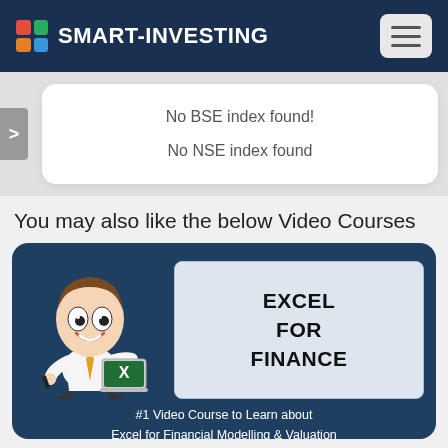SMART-INVESTING
No BSE index found!
No NSE index found
You may also like the below Video Courses
[Figure (illustration): Course card for Excel for Finance video course, featuring a cartoon character holding a laptop with Excel icon, and text 'EXCEL FOR FINANCE' plus caption '#1 Video Course to Learn about Excel for Financial Modelling & Valuation']